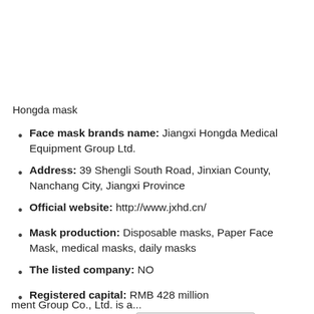Hongda mask
Face mask brands name: Jiangxi Hongda Medical Equipment Group Ltd.
Address: 39 Shengli South Road, Jinxian County, Nanchang City, Jiangxi Province
Official website: http://www.jxhd.cn/
Mask production: Disposable masks, Paper Face Mask, medical masks, daily masks
The listed company: NO
Registered capital: RMB 428 million
Company profile: Jia[Select Language dropdown]
...ment Group Co., Ltd. is a...